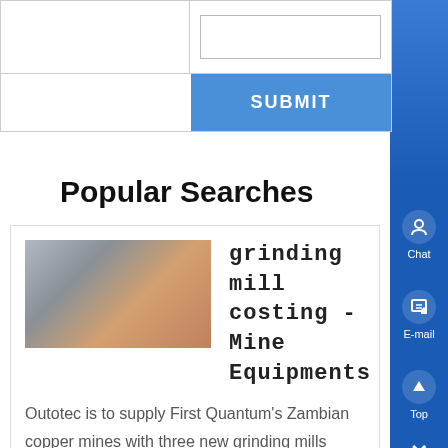[Figure (screenshot): Web form with a text input box and a blue SUBMIT button]
Popular Searches
[Figure (photo): Thumbnail photo of mining/grinding mill equipment]
grinding mill costing - Mine Equipments
Outotec is to supply First Quantum's Zambian copper mines with three new grinding mills costing around €15 million including a ball mill equal , Full text of "Bureau of Mines cost estimating system handbook" The MAS is concerned with costing mineral occurrences , SBM supplies complete